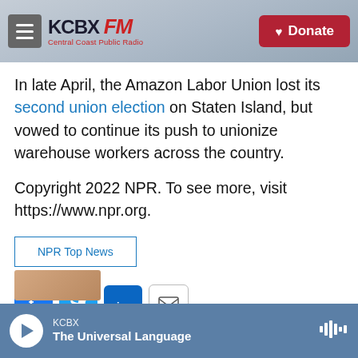KCBX FM — Central Coast Public Radio | Donate
In late April, the Amazon Labor Union lost its second union election on Staten Island, but vowed to continue its push to unionize warehouse workers across the country.
Copyright 2022 NPR. To see more, visit https://www.npr.org.
NPR Top News
[Figure (screenshot): Social sharing icons: Facebook, Twitter, LinkedIn, Email]
KCBX — The Universal Language (audio player bar)